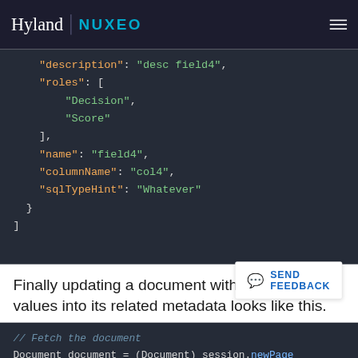Hyland | NUXEO
[Figure (screenshot): Dark-themed code block showing JSON snippet with keys: description, roles (array with Decision, Score), name, columnName, sqlTypeHint, followed by closing braces and bracket.]
Finally updating a document with the JSON values into its related metadata looks like this.
[Figure (screenshot): Dark-themed code block showing Java code comment '// Fetch the document' and partial line 'Document document = (Document) session.newPage...']
SEND FEEDBACK